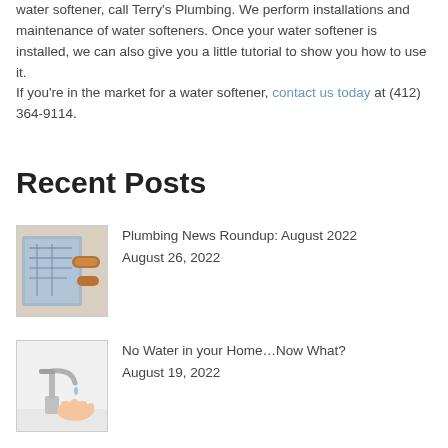water softener, call Terry's Plumbing. We perform installations and maintenance of water softeners. Once your water softener is installed, we can also give you a little tutorial to show you how to use it.
If you're in the market for a water softener, contact us today at (412) 364-9114.
Recent Posts
[Figure (photo): Thumbnail image showing plumbing blueprints and copper pipes]
Plumbing News Roundup: August 2022
August 26, 2022
[Figure (photo): Thumbnail image showing a faucet with a hand underneath]
No Water in your Home…Now What?
August 19, 2022